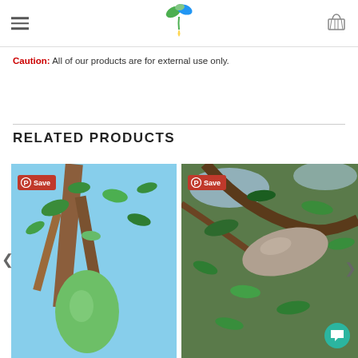Navigation header with hamburger menu, logo, and cart icon
Caution: All of our products are for external use only.
RELATED PRODUCTS
[Figure (photo): Green fruit hanging on tree branches with brown bark and green leaves, blue sky background. Pinterest Save badge in top-left corner.]
[Figure (photo): Grey/tan oblong fruit pod hanging among green leaves and branches. Pinterest Save badge in top-left corner. Chat bubble icon bottom-right.]